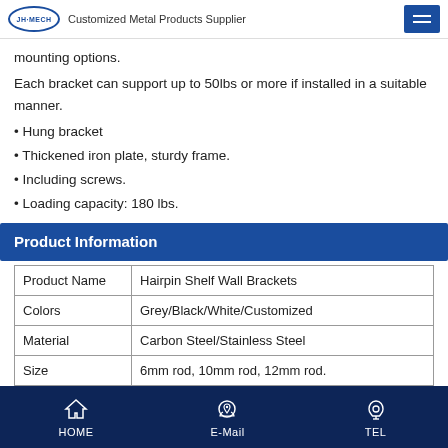JH MECH | Customized Metal Products Supplier
mounting options.
Each bracket can support up to 50lbs or more if installed in a suitable manner.
• Hung bracket
• Thickened iron plate, sturdy frame.
• Including screws.
• Loading capacity: 180 lbs.
Product Information
| Property | Value |
| --- | --- |
| Product Name | Hairpin Shelf Wall Brackets |
| Colors | Grey/Black/White/Customized |
| Material | Carbon Steel/Stainless Steel |
| Size | 6mm rod, 10mm rod, 12mm rod. |
| Surface | Powder Coating |
HOME | E-Mail | TEL